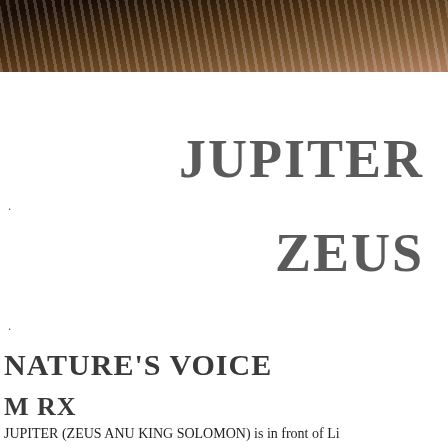[Figure (photo): Dark photograph at top of page showing textured/striped surface with dark tones of brown and black]
.
JUPITER
ZEUS
.
NATURE'S VOICE
M RX
JUPITER (ZEUS ANU KING SOLOMON) is in front of Li